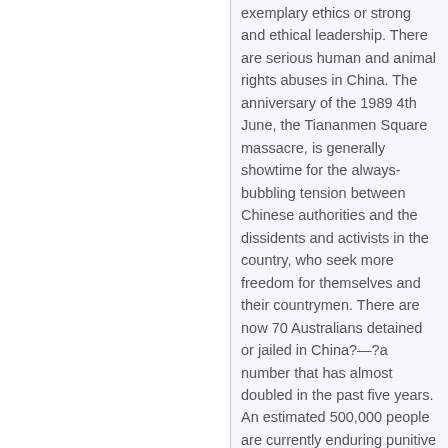exemplary ethics or strong and ethical leadership. There are serious human and animal rights abuses in China. The anniversary of the 1989 4th June, the Tiananmen Square massacre, is generally showtime for the always-bubbling tension between Chinese authorities and the dissidents and activists in the country, who seek more freedom for themselves and their countrymen. There are now 70 Australians detained or jailed in China?—?a number that has almost doubled in the past five years. An estimated 500,000 people are currently enduring punitive detention without charge or trial, and millions are unable to access the legal system